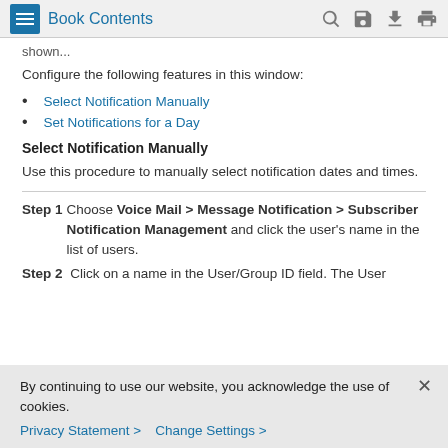Book Contents
shown...
Configure the following features in this window:
Select Notification Manually
Set Notifications for a Day
Select Notification Manually
Use this procedure to manually select notification dates and times.
Step 1 Choose Voice Mail > Message Notification > Subscriber Notification Management and click the user's name in the list of users.
Step 2 Click on a name in the User/Group ID field. The User
By continuing to use our website, you acknowledge the use of cookies.
Privacy Statement > Change Settings >